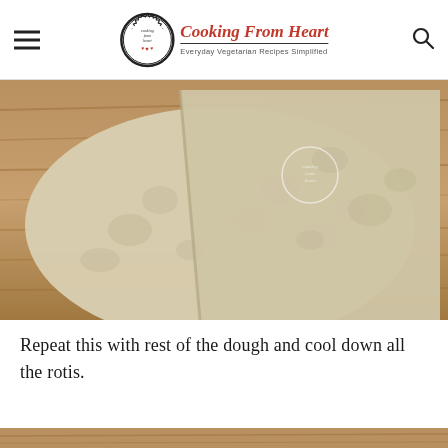Cooking From Heart — Everyday Vegetarian Recipes Simplified
[Figure (photo): Close-up photo of two thin round flatbread rotis folded/overlapping on a wooden surface, with a watermark logo in the center]
Repeat this with rest of the dough and cool down all the rotis.
[Figure (photo): Partial view of another food photo at the bottom of the page, showing a wooden surface]